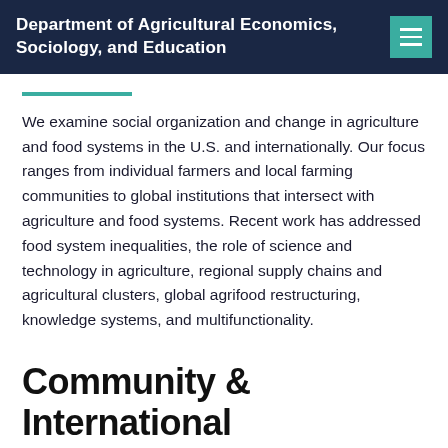Department of Agricultural Economics, Sociology, and Education
We examine social organization and change in agriculture and food systems in the U.S. and internationally. Our focus ranges from individual farmers and local farming communities to global institutions that intersect with agriculture and food systems. Recent work has addressed food system inequalities, the role of science and technology in agriculture, regional supply chains and agricultural clusters, global agrifood restructuring, knowledge systems, and multifunctionality.
Community & International Development